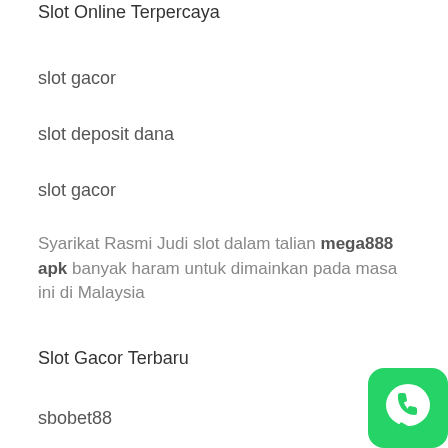Slot Online Terpercaya
slot gacor
slot deposit dana
slot gacor
Syarikat Rasmi Judi slot dalam talian mega888 apk banyak haram untuk dimainkan pada masa ini di Malaysia
Slot Gacor Terbaru
sbobet88
[Figure (logo): WhatsApp icon — green rounded square with white phone handset inside a speech bubble]